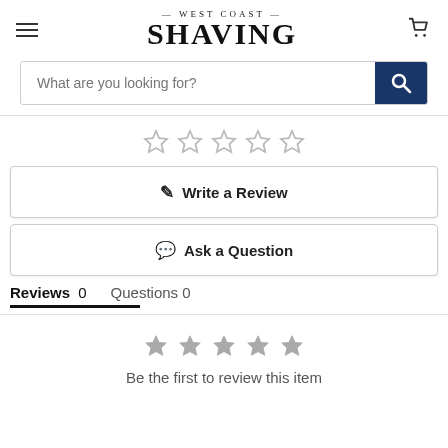[Figure (logo): West Coast Shaving logo with hamburger menu and cart icon]
What are you looking for?
[Figure (other): Five empty star rating icons]
Write a Review
Ask a Question
Reviews 0   Questions 0
[Figure (other): Five filled grey star rating icons]
Be the first to review this item